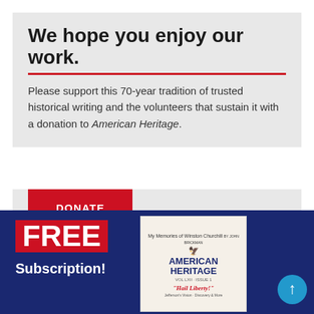We hope you enjoy our work.
Please support this 70-year tradition of trusted historical writing and the volunteers that sustain it with a donation to American Heritage.
[Figure (other): Red DONATE button]
[Figure (illustration): American Heritage magazine FREE Subscription advertisement banner with navy blue background, red FREE label, white Subscription! text, and magazine cover showing American Heritage title with Hail Liberty tagline]